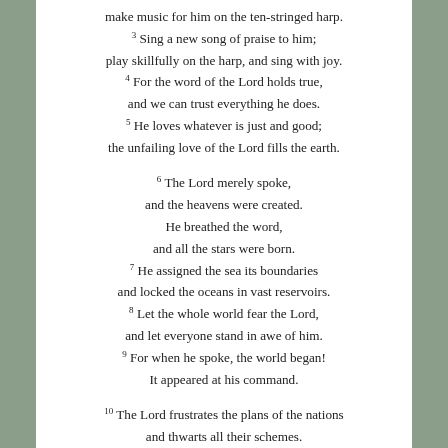make music for him on the ten-stringed harp. 3 Sing a new song of praise to him; play skillfully on the harp, and sing with joy. 4 For the word of the Lord holds true, and we can trust everything he does. 5 He loves whatever is just and good; the unfailing love of the Lord fills the earth. 6 The Lord merely spoke, and the heavens were created. He breathed the word, and all the stars were born. 7 He assigned the sea its boundaries and locked the oceans in vast reservoirs. 8 Let the whole world fear the Lord, and let everyone stand in awe of him. 9 For when he spoke, the world began! It appeared at his command. 10 The Lord frustrates the plans of the nations and thwarts all their schemes.